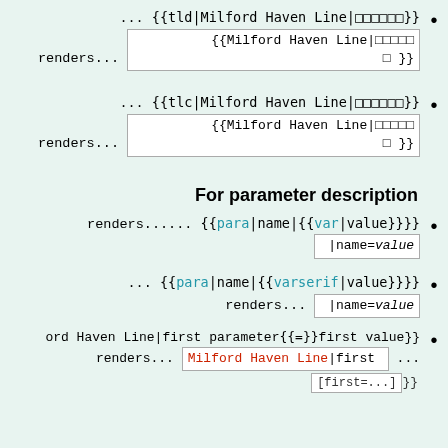... {{tld|Milford Haven Line|□□□□□□}} renders... {{Milford Haven Line|□□□□□ □}}
... {{tlc|Milford Haven Line|□□□□□□}} renders... {{Milford Haven Line|□□□□□ □}}
For parameter description
renders...... {{para|name|{{var|value}}}} |name=value
... {{para|name|{{varserif|value}}}} renders... |name=value
ord Haven Line|first parameter{{=}}first value}} renders... {{Milford Haven Line|first ...